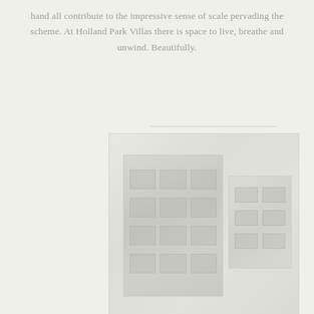hand all contribute to the impressive sense of scale pervading the scheme. At Holland Park Villas there is space to live, breathe and unwind. Beautifully.
[Figure (photo): Faded, low-contrast architectural photograph of Holland Park Villas building facade, showing a large Georgian or neoclassical style residential building with multiple floors and windows, rendered in very pale muted tones against a light background. Additional partial images visible below suggesting further views of the development.]